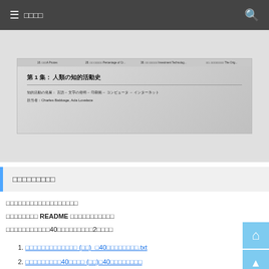☰ □□□□
[Figure (screenshot): Screenshot of a slide/presentation page showing a slide with Japanese text title and content lines, with tab navigation at top]
□□□□□□□□□
□□□□□□□□□□□□□□□□□□
□□□□□□□□ README □□□□□□□□□□□
□□□□□□□□□□□40□□□□□□□□□□2□□□□
1. □□□□□□□□□□□□□ (□□)_□40□□□□□□□□.txt
2. □□□□□□□□□40□□□□ (□□)□40□□□□□□□□